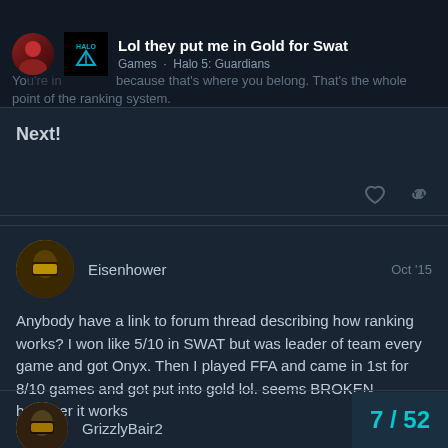Lol they put me in Gold for Swat — Games · Halo 5: Guardians
Next!
Eisenhower   Oct '15
Anybody have a link to forum thread describing how ranking works? I won like 5/10 in SWAT but was leader of team every game and got Onyx. Then I played FFA and came in 1st for 8/10 games and got put into gold lol. seems BROKEN however it works
GrizzlyBair2   Oct '15
7 / 52